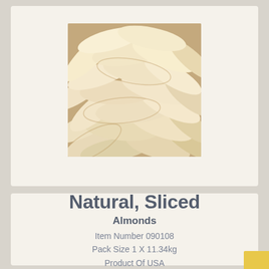[Figure (photo): Close-up photograph of natural sliced almonds piled together, showing pale cream and tan colored almond slices]
Natural, Sliced
Almonds
Item Number 090108
Pack Size 1 X 11.34kg
Product Of USA